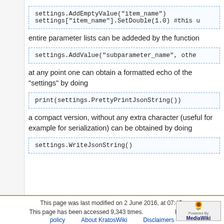settings.AddEmptyValue("item_name")
settings["item_name"].SetDouble(1.0) #this u
entire parameter lists can be addeded by the function
settings.AddValue("subparameter_name", othe
at any point one can obtain a formatted echo of the "settings" by doing
print(settings.PrettyPrintJsonString())
a compact version, without any extra character (useful for example for serialization) can be obtained by doing
settings.WriteJsonString()
This page was last modified on 2 June 2016, at 07:45.
This page has been accessed 9,343 times.
Privacy policy    About KratosWiki    Disclaimers